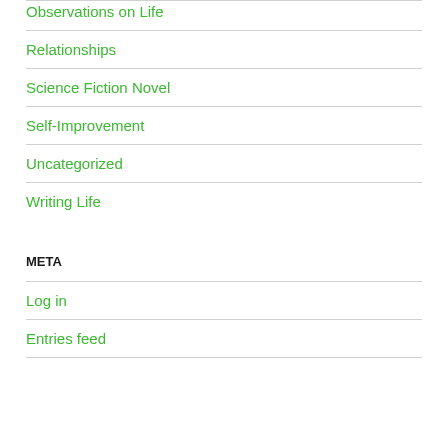Observations on Life
Relationships
Science Fiction Novel
Self-Improvement
Uncategorized
Writing Life
META
Log in
Entries feed